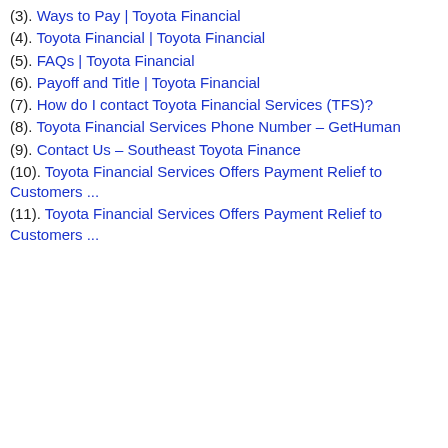(3). Ways to Pay | Toyota Financial
(4). Toyota Financial | Toyota Financial
(5). FAQs | Toyota Financial
(6). Payoff and Title | Toyota Financial
(7). How do I contact Toyota Financial Services (TFS)?
(8). Toyota Financial Services Phone Number – GetHuman
(9). Contact Us – Southeast Toyota Finance
(10). Toyota Financial Services Offers Payment Relief to Customers ...
(11). Toyota Financial Services Offers Payment Relief to Customers ...